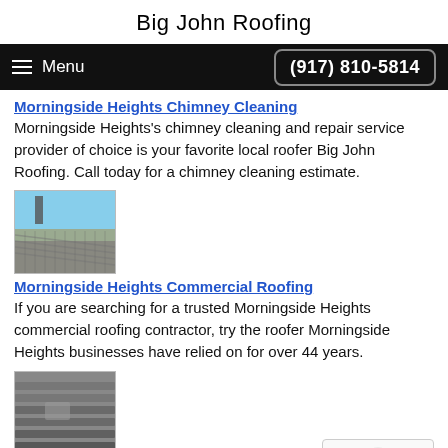Big John Roofing
Menu | (917) 810-5814
Morningside Heights Chimney Cleaning
Morningside Heights's chimney cleaning and repair service provider of choice is your favorite local roofer Big John Roofing. Call today for a chimney cleaning estimate.
[Figure (photo): Photo of commercial metal roof with corrugated panels under blue sky]
Morningside Heights Commercial Roofing
If you are searching for a trusted Morningside Heights commercial roofing contractor, try the roofer Morningside Heights businesses have relied on for over 44 years.
[Figure (photo): Photo of damaged shingle roofing in gray tones]
Morningside Heights Emergency Roofing
When you're in need of emergency roofing repair in